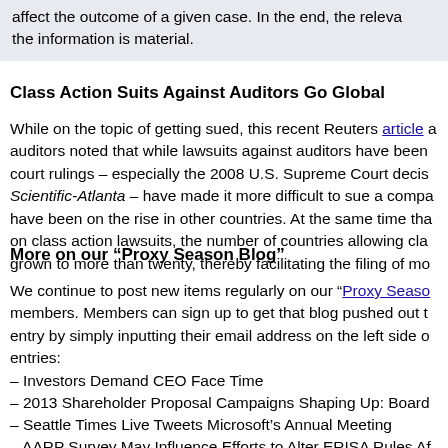affect the outcome of a given case. In the end, the relevant question is whether the information is material.
Class Action Suits Against Auditors Go Global
While on the topic of getting sued, this recent Reuters article noted that while lawsuits against auditors have been court rulings – especially the 2008 U.S. Supreme Court decision in Scientific-Atlanta – have made it more difficult to sue a company have been on the rise in other countries. At the same time that on class action lawsuits, the number of countries allowing class grown to more than twenty, thereby facilitating the filing of mo
More on our “Proxy Season Blog”
We continue to post new items regularly on our “Proxy Season Blog” for members. Members can sign up to get that blog pushed out to them entry by simply inputting their email address on the left side of entries:
– Investors Demand CEO Face Time
– 2013 Shareholder Proposal Campaigns Shaping Up: Board
– Seattle Times Live Tweets Microsoft’s Annual Meeting
– AARP Survey May Influence Efforts to Alter ERISA Rules Af